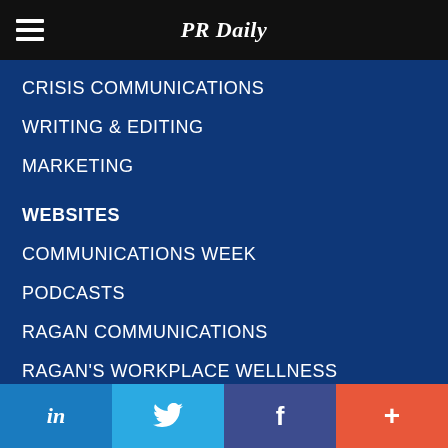PR Daily
CRISIS COMMUNICATIONS
WRITING & EDITING
MARKETING
WEBSITES
COMMUNICATIONS WEEK
PODCASTS
RAGAN COMMUNICATIONS
RAGAN'S WORKPLACE WELLNESS
WHAT WE DO
in | Twitter | f | +